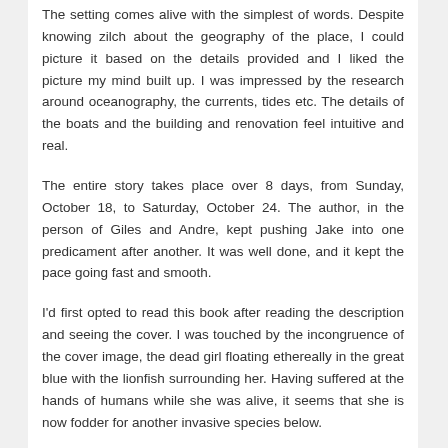The setting comes alive with the simplest of words. Despite knowing zilch about the geography of the place, I could picture it based on the details provided and I liked the picture my mind built up. I was impressed by the research around oceanography, the currents, tides etc. The details of the boats and the building and renovation feel intuitive and real.
The entire story takes place over 8 days, from Sunday, October 18, to Saturday, October 24. The author, in the person of Giles and Andre, kept pushing Jake into one predicament after another. It was well done, and it kept the pace going fast and smooth.
I'd first opted to read this book after reading the description and seeing the cover. I was touched by the incongruence of the cover image, the dead girl floating ethereally in the great blue with the lionfish surrounding her. Having suffered at the hands of humans while she was alive, it seems that she is now fodder for another invasive species below.